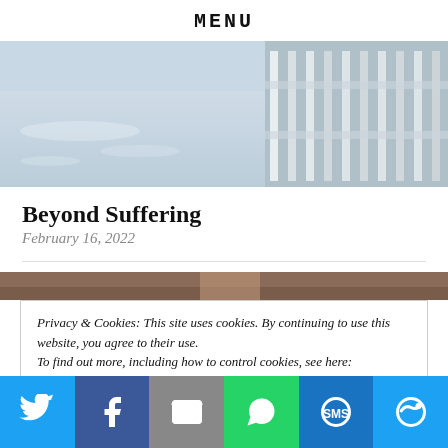MENU
[Figure (photo): Outdoor photo showing shimmering water on the left and a white picket fence on the right]
Beyond Suffering
February 16, 2022
[Figure (photo): Partial photo, mostly cropped, showing dark brownish tones]
Privacy & Cookies: This site uses cookies. By continuing to use this website, you agree to their use.
To find out more, including how to control cookies, see here: Cookie Policy
Share buttons: Twitter, Facebook, Email, WhatsApp, SMS, More